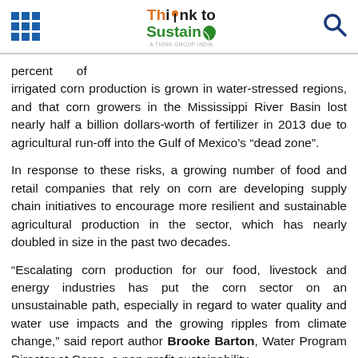Think to Sustain
percent of irrigated corn production is grown in water-stressed regions, and that corn growers in the Mississippi River Basin lost nearly half a billion dollars-worth of fertilizer in 2013 due to agricultural run-off into the Gulf of Mexico’s “dead zone”.
In response to these risks, a growing number of food and retail companies that rely on corn are developing supply chain initiatives to encourage more resilient and sustainable agricultural production in the sector, which has nearly doubled in size in the past two decades.
“Escalating corn production for our food, livestock and energy industries has put the corn sector on an unsustainable path, especially in regard to water quality and water use impacts and the growing ripples from climate change,” said report author Brooke Barton, Water Program Director at Ceres, a non-profit sustainability